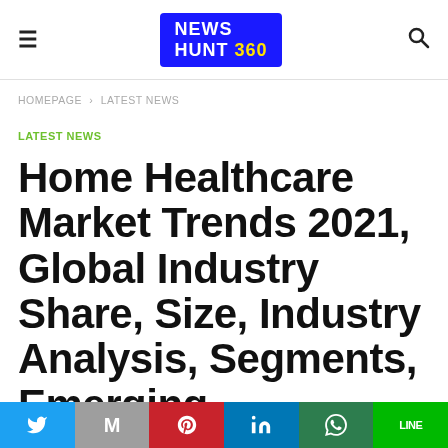≡  NEWS HUNT 360  🔍
HOMEPAGE > LATEST NEWS
LATEST NEWS
Home Healthcare Market Trends 2021, Global Industry Share, Size, Industry Analysis, Segments, Emerging Technologies, Opportunity